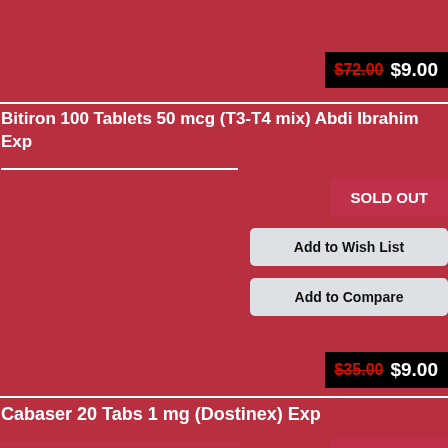$72.00 $9.00
Bitiron 100 Tablets 50 mcg (T3-T4 mix) Abdi Ibrahim Exp
SOLD OUT
Add to Wish List
Add to Compare
$35.00 $9.00
Cabaser 20 Tabs 1 mg (Dostinex) Exp
SOLD OUT